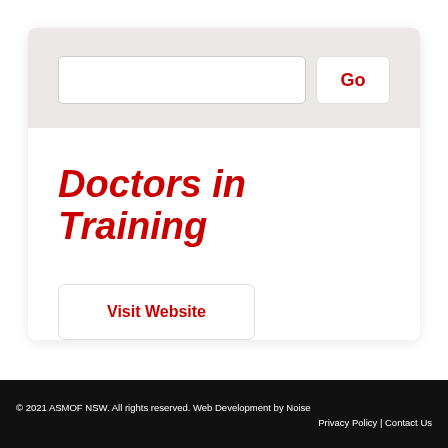[Figure (screenshot): Search bar with text input field and a 'Go' button on a light pinkish-grey background]
Doctors in Training
Visit Website
© 2021 ASMOF NSW. All rights reserved. Web Development by Noise  Privacy Policy | Contact Us